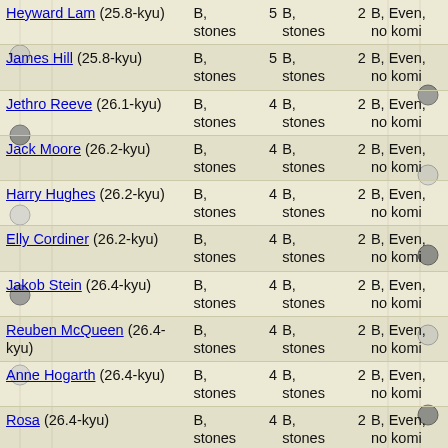| Player | Col2 | # | Col4 | # | Col6 |
| --- | --- | --- | --- | --- | --- |
| Heyward Lam (25.8-kyu) | B, stones | 5 | B, stones | 2 | B, Even, no komi |
| James Hill (25.8-kyu) | B, stones | 5 | B, stones | 2 | B, Even, no komi |
| Jethro Reeve (26.1-kyu) | B, stones | 4 | B, stones | 2 | B, Even, no komi |
| Jack Moore (26.2-kyu) | B, stones | 4 | B, stones | 2 | B, Even, no komi |
| Harry Hughes (26.2-kyu) | B, stones | 4 | B, stones | 2 | B, Even, no komi |
| Elly Cordiner (26.2-kyu) | B, stones | 4 | B, stones | 2 | B, Even, no komi |
| Jakob Stein (26.4-kyu) | B, stones | 4 | B, stones | 2 | B, Even, no komi |
| Reuben McQueen (26.4-kyu) | B, stones | 4 | B, stones | 2 | B, Even, no komi |
| Anne Hogarth (26.4-kyu) | B, stones | 4 | B, stones | 2 | B, Even, no komi |
| Rosa (26.4-kyu) | B, stones | 4 | B, stones | 2 | B, Even, no komi |
| Zach Sullivan (26.8-kyu) | B, stones | 3 | B, Even, no komi | 2 | B, Even, no komi |
| Leopold Arthur | B, | 3 | B, Even, |  | B, Even, |